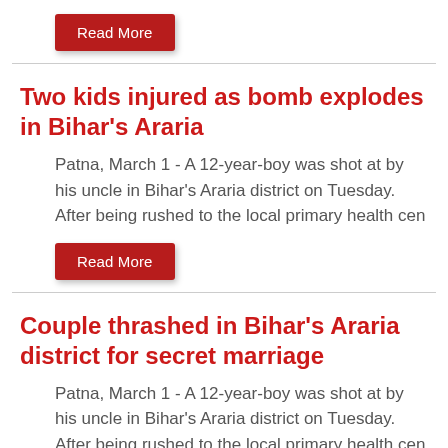Read More
Two kids injured as bomb explodes in Bihar's Araria
Patna, March 1 - A 12-year-boy was shot at by his uncle in Bihar's Araria district on Tuesday. After being rushed to the local primary health cen
Read More
Couple thrashed in Bihar's Araria district for secret marriage
Patna, March 1 - A 12-year-boy was shot at by his uncle in Bihar's Araria district on Tuesday. After being rushed to the local primary health cen